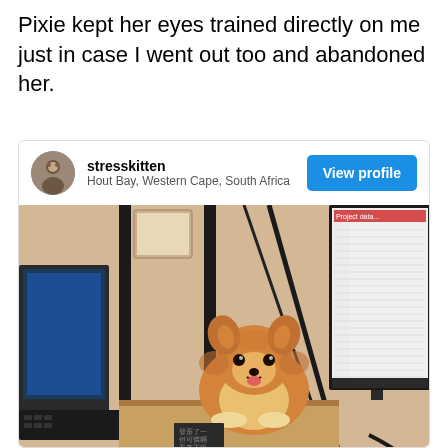Pixie kept her eyes trained directly on me just in case I went out too and abandoned her.
[Figure (screenshot): Social media post card from user 'stresskitten' located in Hout Bay, Western Cape, South Africa, with a 'View profile' button. Below the header is a photo of a fluffy Pomeranian dog lying on a wooden desk surface between two computer monitors and iron railing bars, looking directly at the camera.]